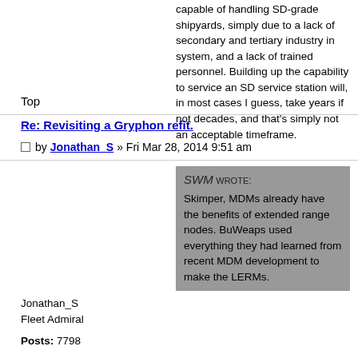capable of handling SD-grade shipyards, simply due to a lack of secondary and tertiary industry in system, and a lack of trained personnel. Building up the capability to service an SD service station will, in most cases I guess, take years if not decades, and that's simply not an acceptable timeframe.
Top
Re: Revisiting a Gryphon refit.
by Jonathan_S » Fri Mar 28, 2014 9:51 am
SWM WROTE: Skimper, MDMs already have the benefits of extended range nodes. BuWeaps used everything they had learned from recent MDM development to make the LERMs.
Jonathan_S
Fleet Admiral
Posts: 7798